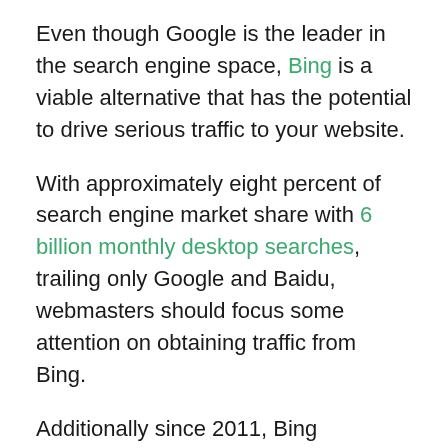Even though Google is the leader in the search engine space, Bing is a viable alternative that has the potential to drive serious traffic to your website.
With approximately eight percent of search engine market share with 6 billion monthly desktop searches, trailing only Google and Baidu, webmasters should focus some attention on obtaining traffic from Bing.
Additionally since 2011, Bing Webmaster Tools has been showing integrated data